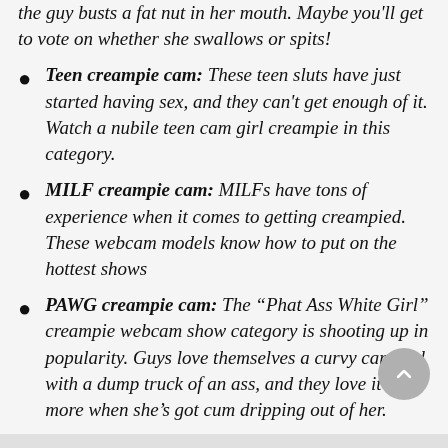the guy busts a fat nut in her mouth. Maybe you'll get to vote on whether she swallows or spits!
Teen creampie cam: These teen sluts have just started having sex, and they can't get enough of it. Watch a nubile teen cam girl creampie in this category.
MILF creampie cam: MILFs have tons of experience when it comes to getting creampied. These webcam models know how to put on the hottest shows
PAWG creampie cam: The “Phat Ass White Girl” creampie webcam show category is shooting up in popularity. Guys love themselves a curvy cam girl with a dump truck of an ass, and they love it even more when she’s got cum dripping out of her.